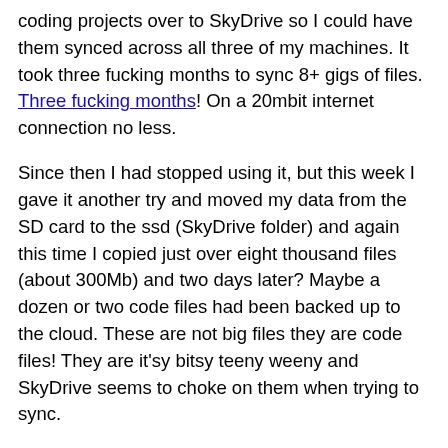coding projects over to SkyDrive so I could have them synced across all three of my machines. It took three fucking months to sync 8+ gigs of files. Three fucking months! On a 20mbit internet connection no less.
Since then I had stopped using it, but this week I gave it another try and moved my data from the SD card to the ssd (SkyDrive folder) and again this time I copied just over eight thousand files (about 300Mb) and two days later? Maybe a dozen or two code files had been backed up to the cloud. These are not big files they are code files! They are it'sy bitsy teeny weeny and SkyDrive seems to choke on them when trying to sync.
Google drive, Drop Box start syncing files immediately and work tirelessly to sync your files as soon as possible with little cpu overhead. SkyDrive seems to sit around on it's ass twiddling it's thumbs completely oblivious that I just put files into it's folder. Then it has a heart attack when it realizes that there are files in it's folder and starts taking 30% of my cpu cycles and after that still fucking seems to do nothing or next to nothing.
I have 225gb of SkyDrive storage and will not be using any of it. I do not ever want to have to think of using SkyDrive as a cloud backup service. 225gb of free online storage and you can't even get people to use it. That's how fucking craptacular your service is Microsoft. Zero customer trust. And to think a year ago for a brief moment I actually considered to pay for more